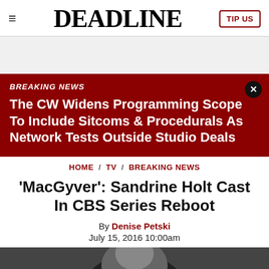DEADLINE — TIP US
BREAKING NEWS — The CW Widens Programming Scope To Include Sitcoms & Procedurals As Network Tests Outside Studio Deals
HOME / TV / BREAKING NEWS
'MacGyver': Sandrine Holt Cast In CBS Series Reboot
By Denise Petski
July 15, 2016 10:00am
[Figure (photo): Black and white photo of a person, partially visible at bottom of page]